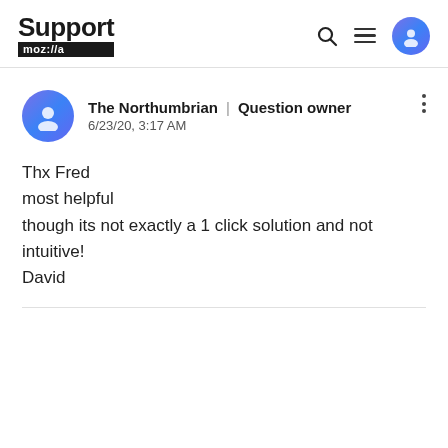Support mozilla// [search icon] [menu icon] [avatar icon]
The Northumbrian | Question owner
6/23/20, 3:17 AM
Thx Fred
most helpful
though its not exactly a 1 click solution and not intuitive!
David